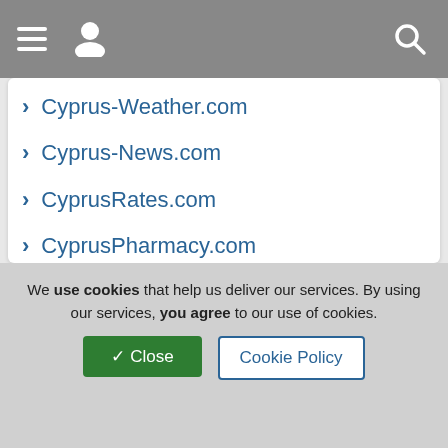Navigation bar with menu, user, and search icons
Cyprus-Weather.com
Cyprus-News.com
CyprusRates.com
CyprusPharmacy.com
Cyprus-Maps.com
CyprusCinema.com
Cyprus-FM.com
CyprusEvents.com
Cyprus-Embassy.com
Live Radio
We use cookies that help us deliver our services. By using our services, you agree to our use of cookies.
✓ Close | Cookie Policy